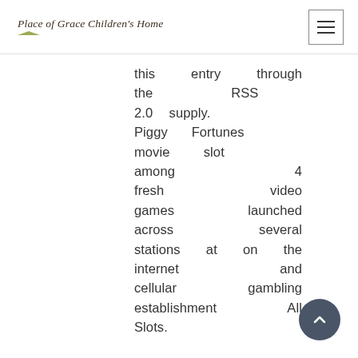Place of Grace Children's Home
this entry through the RSS 2.0 supply. Piggy Fortunes movie slot among 4 fresh video games launched across several stations at on the internet and cellular gambling establishment All Slots.